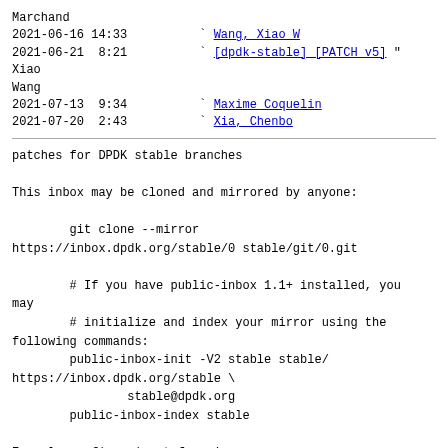Marchand
2021-06-16 14:33   ` Wang, Xiao W
2021-06-21  8:21   ` [dpdk-stable] [PATCH v5] " Xiao Wang
2021-07-13  9:34   ` Maxime Coquelin
2021-07-20  2:43   ` Xia, Chenbo
patches for DPDK stable branches
This inbox may be cloned and mirrored by anyone:

        git clone --mirror
https://inbox.dpdk.org/stable/0 stable/git/0.git

        # If you have public-inbox 1.1+ installed, you may
        # initialize and index your mirror using the
following commands:
        public-inbox-init -V2 stable stable/
https://inbox.dpdk.org/stable \
                stable@dpdk.org
        public-inbox-index stable

Example config_snippet for mirrors.
Newsgroup available over NNTP:
        nntp://inbox.dpdk.org/inbox.dpdk.stable


AGPL code for this site: git clone https://public-